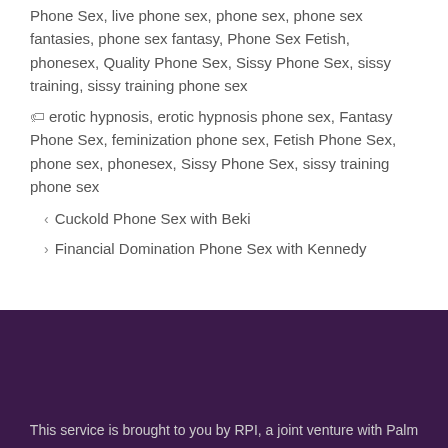Phone Sex, live phone sex, phone sex, phone sex fantasies, phone sex fantasy, Phone Sex Fetish, phonesex, Quality Phone Sex, Sissy Phone Sex, sissy training, sissy training phone sex
erotic hypnosis, erotic hypnosis phone sex, Fantasy Phone Sex, feminization phone sex, Fetish Phone Sex, phone sex, phonesex, Sissy Phone Sex, sissy training phone sex
Cuckold Phone Sex with Beki
Financial Domination Phone Sex with Kennedy
This service is brought to you by RPI, a joint venture with Palm